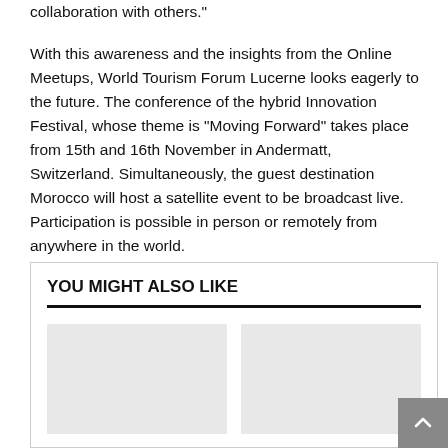collaboration with others."

With this awareness and the insights from the Online Meetups, World Tourism Forum Lucerne looks eagerly to the future. The conference of the hybrid Innovation Festival, whose theme is “Moving Forward” takes place from 15th and 16th November in Andermatt, Switzerland. Simultaneously, the guest destination Morocco will host a satellite event to be broadcast live. Participation is possible in person or remotely from anywhere in the world.
YOU MIGHT ALSO LIKE
[Figure (other): Two gray placeholder image cards side by side]